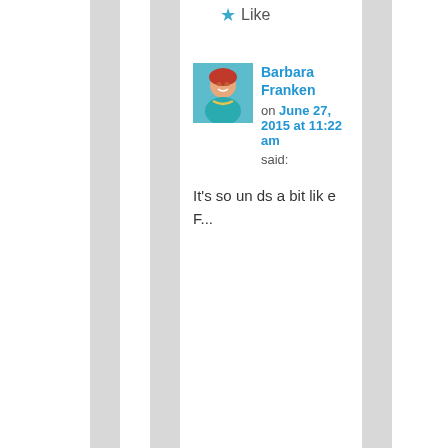★ Like
[Figure (photo): Avatar photo of Barbara Franken, a woman smiling wearing teal/turquoise jewelry]
Barbara Franken on June 27, 2015 at 11:22 am said:
It's so un ds a bit lik e F...